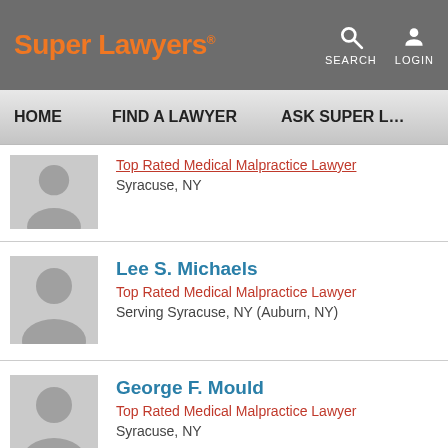Super Lawyers
SEARCH  LOGIN
HOME  FIND A LAWYER  ASK SUPER L…
Top Rated Medical Malpractice Lawyer
Syracuse, NY
Lee S. Michaels
Top Rated Medical Malpractice Lawyer
Serving Syracuse, NY (Auburn, NY)
George F. Mould
Top Rated Medical Malpractice Lawyer
Syracuse, NY